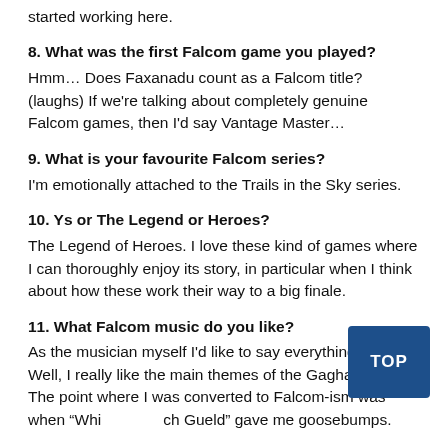started working here.
8. What was the first Falcom game you played?
Hmm… Does Faxanadu count as a Falcom title? (laughs) If we're talking about completely genuine Falcom games, then I'd say Vantage Master…
9. What is your favourite Falcom series?
I'm emotionally attached to the Trails in the Sky series.
10. Ys or The Legend or Heroes?
The Legend of Heroes. I love these kind of games where I can thoroughly enjoy its story, in particular when I think about how these work their way to a big finale.
11. What Falcom music do you like?
As the musician myself I'd like to say everything, but… Well, I really like the main themes of the Gagharv Trilogy. The point where I was converted to Falcom-ism was when "White" gave me goosebumps.
12. Who's your favourite Falcom male character?
Weissmann. I was so charmed by this evil professor. If we go